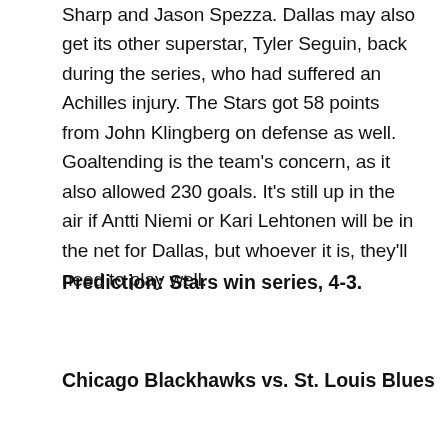Sharp and Jason Spezza. Dallas may also get its other superstar, Tyler Seguin, back during the series, who had suffered an Achilles injury. The Stars got 58 points from John Klingberg on defense as well. Goaltending is the team's concern, as it also allowed 230 goals. It's still up in the air if Antti Niemi or Kari Lehtonen will be in the net for Dallas, but whoever it is, they'll need to play well.
Prediction: Stars win series, 4-3.
Chicago Blackhawks vs. St. Louis Blues